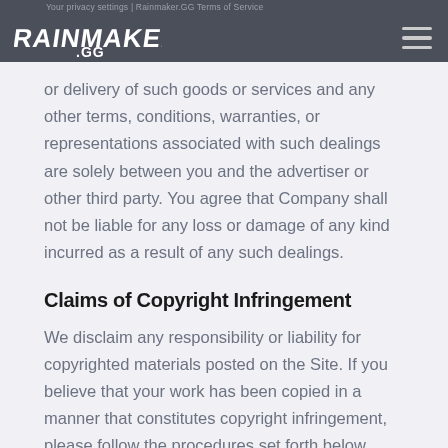Your privacy settings | Rainmaker.GG Terms of Service
[Figure (logo): Rainmaker.GG logo in white handwritten style text on dark background]
or delivery of such goods or services and any other terms, conditions, warranties, or representations associated with such dealings are solely between you and the advertiser or other third party. You agree that Company shall not be liable for any loss or damage of any kind incurred as a result of any such dealings.
Claims of Copyright Infringement
We disclaim any responsibility or liability for copyrighted materials posted on the Site. If you believe that your work has been copied in a manner that constitutes copyright infringement, please follow the procedures set forth below. Company